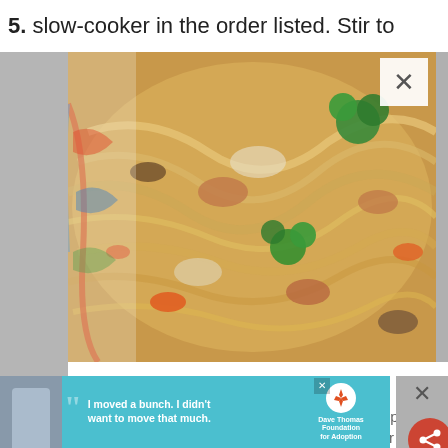5. slow-cooker in the order listed. Stir to
[Figure (photo): Close-up photo of a stir-fry dish with noodles, broccoli, carrots, mushrooms, and meat in a decorative bowl]
FREE MEMBERSHIP!
Get all our new recipes straight to your inbox - plus our most popular eBook of awesome dinner recipes!
[Figure (infographic): Advertisement banner: teal background with a young man photo, large quotation marks, text 'I moved a bunch. I didn't want to move that much.' and Dave Thomas Foundation for Adoption logo]